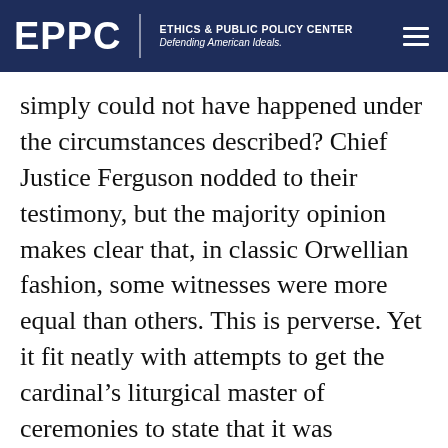EPPC | ETHICS & PUBLIC POLICY CENTER Defending American Ideals.
simply could not have happened under the circumstances described? Chief Justice Ferguson nodded to their testimony, but the majority opinion makes clear that, in classic Orwellian fashion, some witnesses were more equal than others. This is perverse. Yet it fit neatly with attempts to get the cardinal’s liturgical master of ceremonies to state that it was theoretically possible that, on occasion, he might not have been right next to Pell before, during, and after Mass, decades ago. That theoretical possibility was conceded as purely theoretical, but the m.c. insisted that he had no positive recollection of